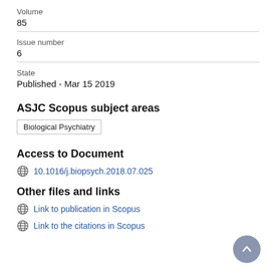Volume
85
Issue number
6
State
Published - Mar 15 2019
ASJC Scopus subject areas
Biological Psychiatry
Access to Document
10.1016/j.biopsych.2018.07.025
Other files and links
Link to publication in Scopus
Link to the citations in Scopus